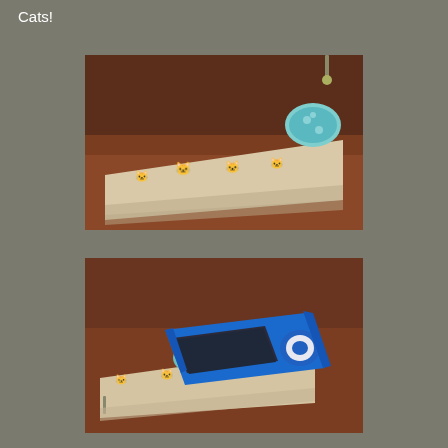Cats!
[Figure (photo): Close-up photo of a fabric pouch/case with cat illustrations printed on beige/cream linen fabric, with a blue floral fabric tab/button closure, lying on a wooden surface]
[Figure (photo): Photo of a blue iPod nano placed on top of the same cat-print fabric pouch on a wooden surface, with the blue floral tab visible]